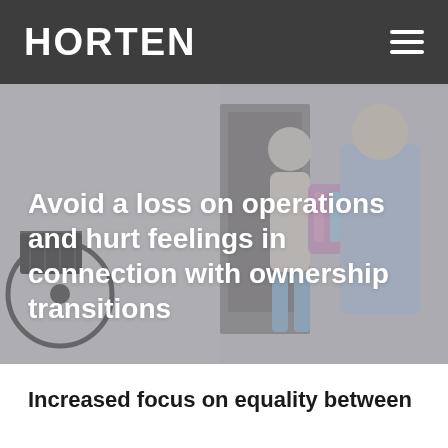HORTEN
[Figure (photo): Photo of a parent and child at a doorway, with a bicycle with a basket on the left side. The image has a grey/faded overlay. Text overlaid reads: 'Avoid a loss on operations and hurt feelings in connection with ownership transitions']
Avoid a loss on operations and hurt feelings in connection with ownership transitions
Increased focus on equality between